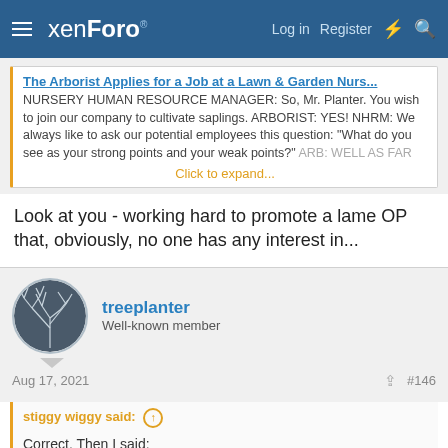xenForo  Log in  Register
The Arborist Applies for a Job at a Lawn & Garden Nurs...
NURSERY HUMAN RESOURCE MANAGER: So, Mr. Planter. You wish to join our company to cultivate saplings. ARBORIST: YES! NHRM: We always like to ask our potential employees this question: "What do you see as your strong points and your weak points?" ARB: WELL AS FAR
Click to expand...
Look at you - working hard to promote a lame OP that, obviously, no one has any interest in...
treeplanter
Well-known member
Aug 17, 2021  #146
stiggy wiggy said:
Correct. Then I said:

Your question is as dumb as: